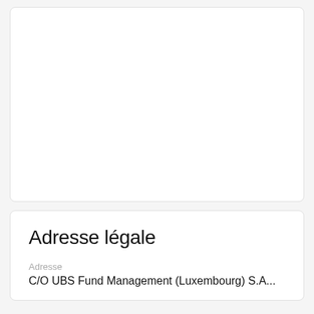[Figure (other): Empty white card panel at the top of the page, no visible content]
Adresse légale
Adresse
C/O UBS Fund Management (Luxembourg) S.A...